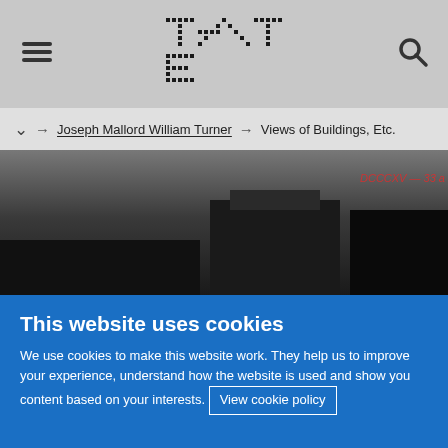Tate website header with hamburger menu, Tate logo, and search icon
Joseph Mallord William Turner → Views of Buildings, Etc.
[Figure (photo): Dark artwork image showing architectural views, with annotation 'DCCCXV - 33 a' in red italics at top right]
[Figure (other): Two circular dark action buttons: basket/shop icon and expand/fullscreen icon]
... CC BY-NC-ND (3.0 ...
This website uses cookies
We use cookies to make this website work. They help us to improve your experience, understand how the website is used and show you content based on your interests. View cookie policy